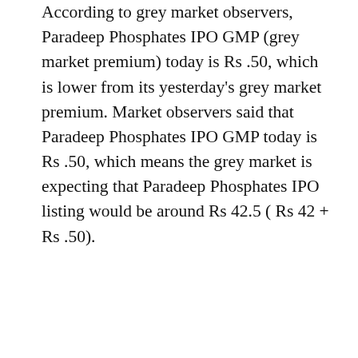According to grey market observers, Paradeep Phosphates IPO GMP (grey market premium) today is Rs .50, which is lower from its yesterday's grey market premium. Market observers said that Paradeep Phosphates IPO GMP today is Rs .50, which means the grey market is expecting that Paradeep Phosphates IPO listing would be around Rs 42.5 ( Rs 42 + Rs .50).